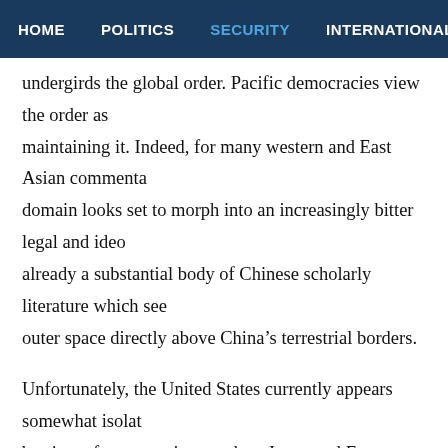HOME  POLITICS  SECURITY  INTERNATIONAL LAW
undergirds the global order. Pacific democracies view the order as maintaining it. Indeed, for many western and East Asian commenta domain looks set to morph into an increasingly bitter legal and ideo already a substantial body of Chinese scholarly literature which see outer space directly above China’s terrestrial borders.
Unfortunately, the United States currently appears somewhat isolat barring a few exceptions such as Japan and France, most strong ma defending freedom of navigation in the contested waters of the Sou adept at engineering intra-regional divisions, whether within South and the Association of Southeast Asian Nations’ (ASEAN) growing concern, as they run the risk of reinforcing China’s narrative that ir